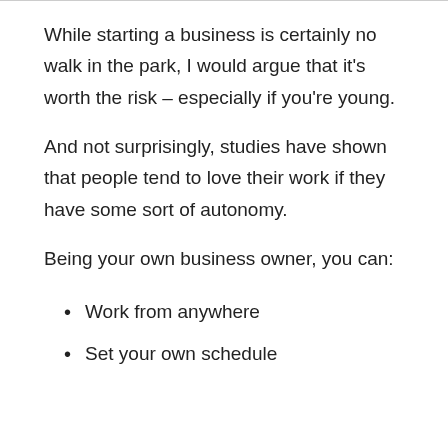While starting a business is certainly no walk in the park, I would argue that it's worth the risk – especially if you're young.
And not surprisingly, studies have shown that people tend to love their work if they have some sort of autonomy.
Being your own business owner, you can:
Work from anywhere
Set your own schedule